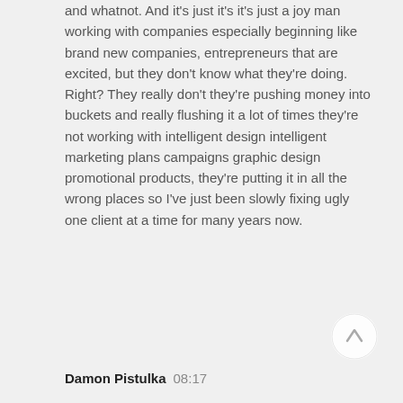and whatnot. And it's just it's it's just a joy man working with companies especially beginning like brand new companies, entrepreneurs that are excited, but they don't know what they're doing. Right? They really don't they're pushing money into buckets and really flushing it a lot of times they're not working with intelligent design intelligent marketing plans campaigns graphic design promotional products, they're putting it in all the wrong places so I've just been slowly fixing ugly one client at a time for many years now.
[Figure (other): Circular scroll-to-top button with upward arrow]
Damon Pistulka  08:17